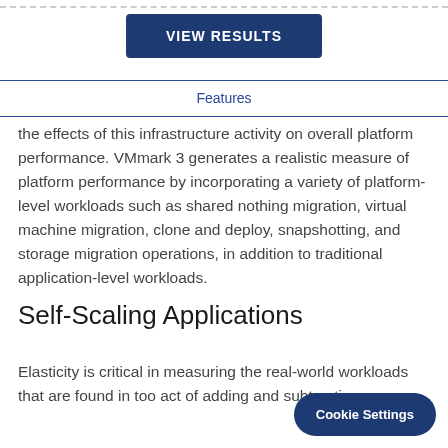VIEW RESULTS
Features
the effects of this infrastructure activity on overall platform performance. VMmark 3 generates a realistic measure of platform performance by incorporating a variety of platform-level workloads such as shared nothing migration, virtual machine migration, clone and deploy, snapshotting, and storage migration operations, in addition to traditional application-level workloads.
Self-Scaling Applications
Elasticity is critical in measuring the real-world workloads that are found in too act of adding and subtracting res
Cookie Settings